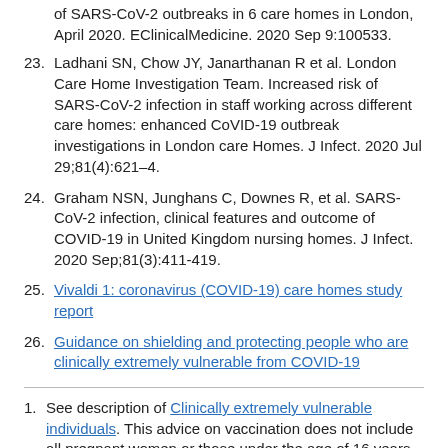of SARS-CoV-2 outbreaks in 6 care homes in London, April 2020. EClinicalMedicine. 2020 Sep 9:100533.
23. Ladhani SN, Chow JY, Janarthanan R et al. London Care Home Investigation Team. Increased risk of SARS-CoV-2 infection in staff working across different care homes: enhanced CoVID-19 outbreak investigations in London care Homes. J Infect. 2020 Jul 29;81(4):621–4.
24. Graham NSN, Junghans C, Downes R, et al. SARS-CoV-2 infection, clinical features and outcome of COVID-19 in United Kingdom nursing homes. J Infect. 2020 Sep;81(3):411-419.
25. Vivaldi 1: coronavirus (COVID-19) care homes study report
26. Guidance on shielding and protecting people who are clinically extremely vulnerable from COVID-19
1. See description of Clinically extremely vulnerable individuals. This advice on vaccination does not include all pregnant women or those under the age of 16 years (see above). ↩